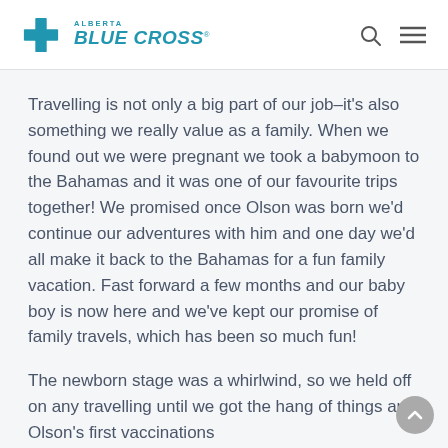Alberta Blue Cross
Travelling is not only a big part of our job–it's also something we really value as a family. When we found out we were pregnant we took a babymoon to the Bahamas and it was one of our favourite trips together! We promised once Olson was born we'd continue our adventures with him and one day we'd all make it back to the Bahamas for a fun family vacation. Fast forward a few months and our baby boy is now here and we've kept our promise of family travels, which has been so much fun!
The newborn stage was a whirlwind, so we held off on any travelling until we got the hang of things and Olson's first vaccinations